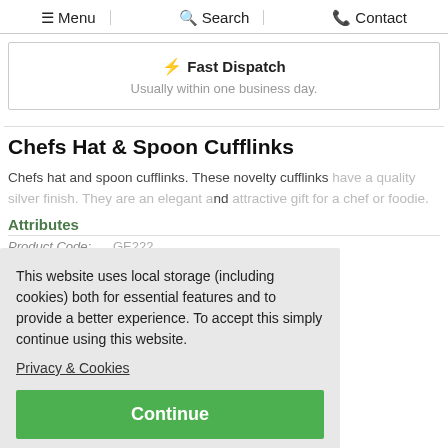Menu  Search  Contact
⚡ Fast Dispatch
Usually within one business day.
Chefs Hat & Spoon Cufflinks
Chefs hat and spoon cufflinks. These novelty cufflinks have a quality silver finish. They are an elegant and attractive gift for a chef or foodie.
Attributes
Product Code: GE222...
MPN: CK77
GTIN: 0636173706397
This website uses local storage (including cookies) both for essential features and to provide a better experience. To accept this simply continue using this website.
Privacy & Cookies
Continue